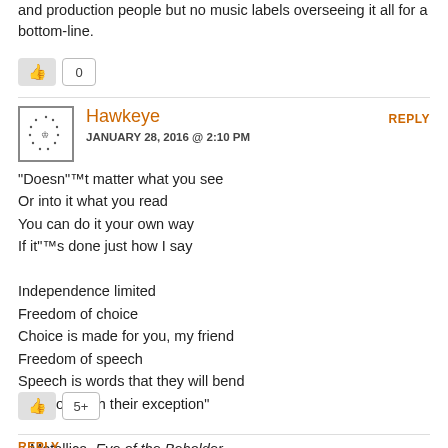and production people but no music labels overseeing it all for a bottom-line.
Hawkeye
JANUARY 28, 2016 @ 2:10 PM
REPLY
“Doesn”™t matter what you see
Or into it what you read
You can do it your own way
If it”™s done just how I say

Independence limited
Freedom of choice
Choice is made for you, my friend
Freedom of speech
Speech is words that they will bend
Freedom with their exception”

– Metallica, Eye of the Beholder